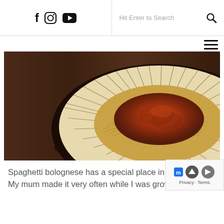f [instagram] [youtube]  |  Hit Enter to Search  [search icon]
[Figure (photo): Two plates of spaghetti bolognese on a dark wooden table. The foreground plate has a decorative black-and-white striped rim with spaghetti topped with meaty tomato bolognese sauce. A second similar plate is visible in the background.]
Spaghetti bolognese has a special place in my h... My mum made it very often while I was growing up